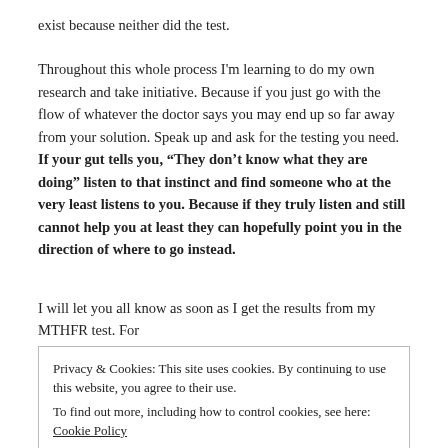exist because neither did the test.
Throughout this whole process I'm learning to do my own research and take initiative. Because if you just go with the flow of whatever the doctor says you may end up so far away from your solution. Speak up and ask for the testing you need. If your gut tells you, “They don’t know what they are doing” listen to that instinct and find someone who at the very least listens to you. Because if they truly listen and still cannot help you at least they can hopefully point you in the direction of where to go instead.
I will let you all know as soon as I get the results from my MTHFR test. For
Privacy & Cookies: This site uses cookies. By continuing to use this website, you agree to their use.
To find out more, including how to control cookies, see here: Cookie Policy
Close and accept
a-Mole game, pay off one bill only to have another equal or more expensive